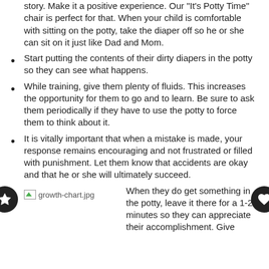story. Make it a positive experience. Our "It's Potty Time" chair is perfect for that. When your child is comfortable with sitting on the potty, take the diaper off so he or she can sit on it just like Dad and Mom.
Start putting the contents of their dirty diapers in the potty so they can see what happens.
While training, give them plenty of fluids. This increases the opportunity for them to go and to learn. Be sure to ask them periodically if they have to use the potty to force them to think about it.
It is vitally important that when a mistake is made, your response remains encouraging and not frustrated or filled with punishment. Let them know that accidents are okay and that he or she will ultimately succeed.
When they do get something in the potty, leave it there for a 1-2 minutes so they can appreciate their accomplishment. Give
[Figure (photo): growth-chart.jpg image placeholder]